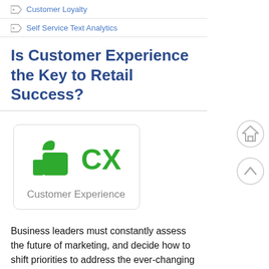Customer Loyalty
Self Service Text Analytics
Is Customer Experience the Key to Retail Success?
[Figure (illustration): A green thumbs-up icon next to large green text 'CX' with 'Customer Experience' label below, inside a rounded-corner card.]
Business leaders must constantly assess the future of marketing, and decide how to shift priorities to address the ever-changing tide.